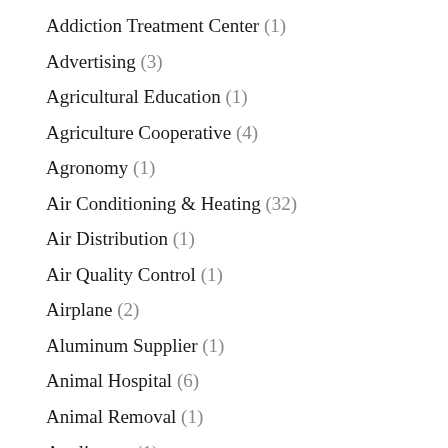Addiction Treatment Center (1)
Advertising (3)
Agricultural Education (1)
Agriculture Cooperative (4)
Agronomy (1)
Air Conditioning & Heating (32)
Air Distribution (1)
Air Quality Control (1)
Airplane (2)
Aluminum Supplier (1)
Animal Hospital (6)
Animal Removal (1)
Appliances (1)